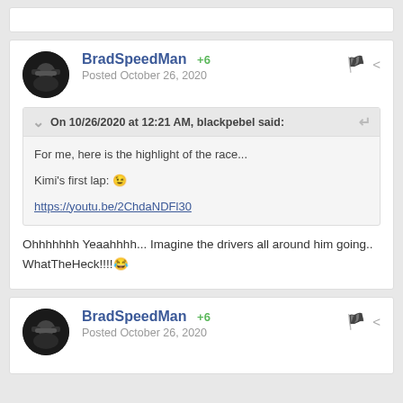BradSpeedMan +6 Posted October 26, 2020
On 10/26/2020 at 12:21 AM, blackpebel said: For me, here is the highlight of the race... Kimi's first lap: 🤣 https://youtu.be/2ChdaNDFl30
Ohhhhhhh Yeaahhhh... Imagine the drivers all around him going.. WhatTheHeck!!!!😂
BradSpeedMan +6 Posted October 26, 2020